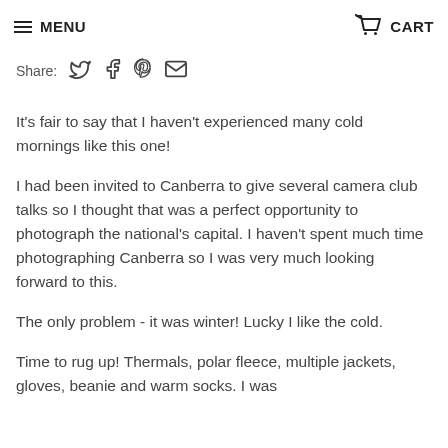MENU  CART
Share:
It's fair to say that I haven't experienced many cold mornings like this one!
I had been invited to Canberra to give several camera club talks so I thought that was a perfect opportunity to photograph the national's capital. I haven't spent much time photographing Canberra so I was very much looking forward to this.
The only problem - it was winter! Lucky I like the cold.
Time to rug up! Thermals, polar fleece, multiple jackets, gloves, beanie and warm socks. I was